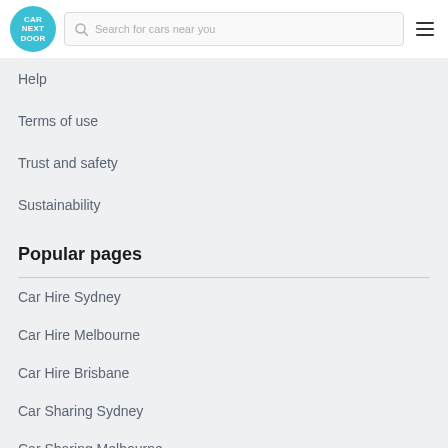Car Next Door — Search for cars near you
Help
Terms of use
Trust and safety
Sustainability
Popular pages
Car Hire Sydney
Car Hire Melbourne
Car Hire Brisbane
Car Sharing Sydney
Car Sharing Melbourne